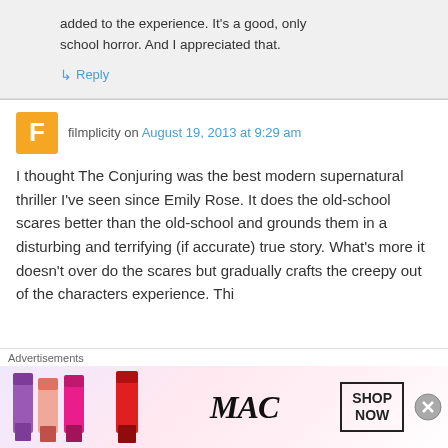added to the experience. It's a good, only school horror. And I appreciated that.
↳ Reply
filmplicity on August 19, 2013 at 9:29 am
I thought The Conjuring was the best modern supernatural thriller I've seen since Emily Rose. It does the old-school scares better than the old-school and grounds them in a disturbing and terrifying (if accurate) true story. What's more it doesn't over do the scares but gradually crafts the creepy out of the characters experience. Thi
Advertisements